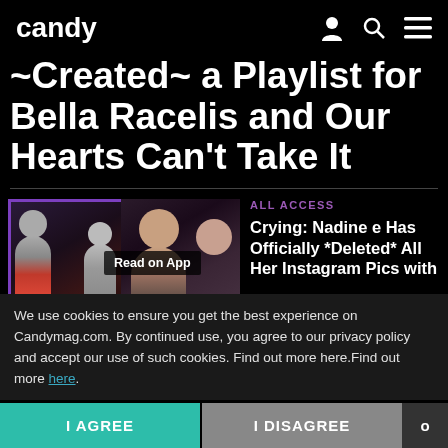candy
~Created~ a Playlist for Bella Racelis and Our Hearts Can't Take It
ALL ACCESS
[Figure (photo): Two thumbnail images side by side. Left: two people in a close-up photo with purple border. Right: woman being kissed on cheek. Overlay text: Read on App]
Crying: Nadine e Has Officially *Deleted* All Her Instagram Pics with
We use cookies to ensure you get the best experience on Candymag.com. By continued use, you agree to our privacy policy and accept our use of such cookies. Find out more here.Find out more here.
I AGREE
I DISAGREE